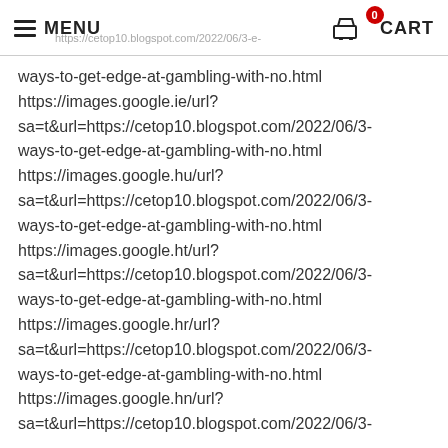MENU | CART (0)
ways-to-get-edge-at-gambling-with-no.html https://images.google.ie/url? sa=t&url=https://cetop10.blogspot.com/2022/06/3-ways-to-get-edge-at-gambling-with-no.html https://images.google.hu/url? sa=t&url=https://cetop10.blogspot.com/2022/06/3-ways-to-get-edge-at-gambling-with-no.html https://images.google.ht/url? sa=t&url=https://cetop10.blogspot.com/2022/06/3-ways-to-get-edge-at-gambling-with-no.html https://images.google.hr/url? sa=t&url=https://cetop10.blogspot.com/2022/06/3-ways-to-get-edge-at-gambling-with-no.html https://images.google.hn/url? sa=t&url=https://cetop10.blogspot.com/2022/06/3-